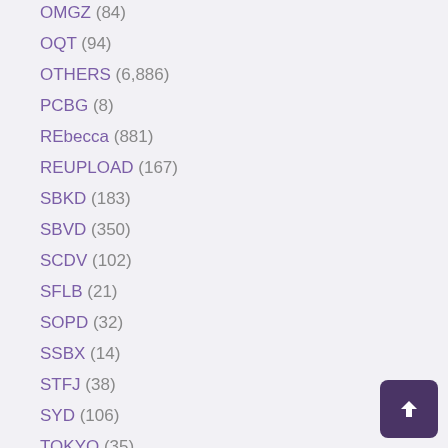OMGZ (84)
OQT (94)
OTHERS (6,886)
PCBG (8)
REbecca (881)
REUPLOAD (167)
SBKD (183)
SBVD (350)
SCDV (102)
SFLB (21)
SOPD (32)
SSBX (14)
STFJ (38)
SYD (106)
TOKYO (35)